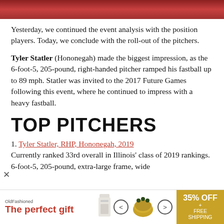[Figure (photo): Cropped photo strip showing a person in a red uniform, only the lower portion visible]
Yesterday, we continued the event analysis with the position players. Today, we conclude with the roll-out of the pitchers.
Tyler Statler (Hononegah) made the biggest impression, as the 6-foot-5, 205-pound, right-handed pitcher ramped his fastball up to 89 mph. Statler was invited to the 2017 Future Games following this event, where he continued to impress with a heavy fastball.
TOP PITCHERS
1. Tyler Statler, RHP, Hononegah, 2019
Currently ranked 33rd overall in Illinois' class of 2019 rankings. 6-foot-5, 205-pound, extra-large frame, wide
[Figure (photo): Advertisement banner: 'The perfect gift' with food product image and 35% OFF + FREE SHIPPING offer]